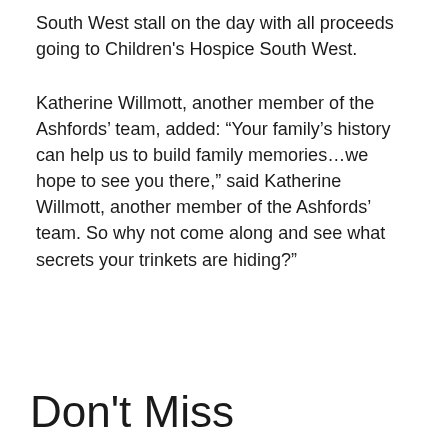South West stall on the day with all proceeds going to Children's Hospice South West.
Katherine Willmott, another member of the Ashfords' team, added: “Your family’s history can help us to build family memories…we hope to see you there,” said Katherine Willmott, another member of the Ashfords’ team. So why not come along and see what secrets your trinkets are hiding?”
Don’t Miss